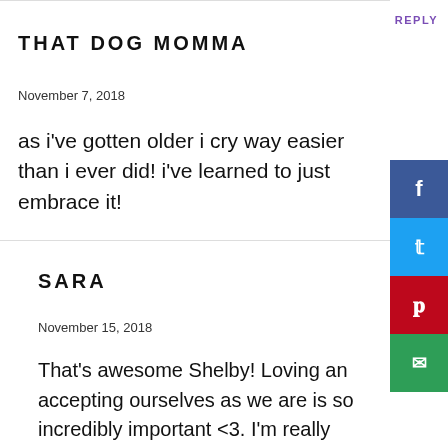THAT DOG MOMMA
REPLY
November 7, 2018
as i've gotten older i cry way easier than i ever did! i've learned to just embrace it!
SARA
REPLY
November 15, 2018
That's awesome Shelby! Loving an accepting ourselves as we are is so incredibly important <3. I'm really happy you're responded to that beautiful side of you with self-love. 🙂